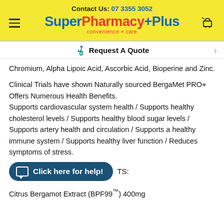Contact Us: 07 3355 3052 | SuperPharmacyPlus convenience + care
Chromium, Alpha Lipoic Acid, Ascorbic Acid, Bioperine and Zinc.
Clinical Trials have shown Naturally sourced BergaMet PRO+ Offers Numerous Health Benefits. Supports cardiovascular system health / Supports healthy cholesterol levels / Supports healthy blood sugar levels / Supports artery health and circulation / Supports a healthy immune system / Supports healthy liver function / Reduces symptoms of stress.
Click here for help! TS:
Citrus Bergamot Extract (BPF99™) 400mg